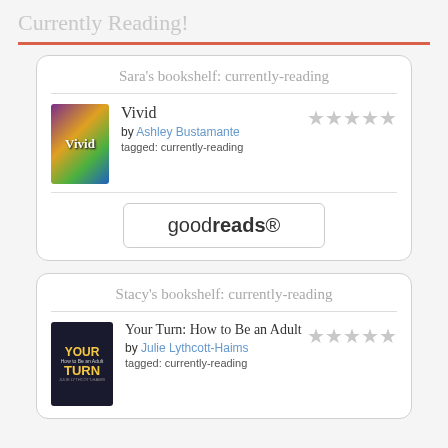Currently Reading!
[Figure (screenshot): Sara's bookshelf: currently-reading widget showing book 'Vivid' by Ashley Bustamante tagged: currently-reading with 5 empty star rating and Goodreads button]
[Figure (screenshot): Stacy's bookshelf: currently-reading widget showing book 'Your Turn: How to Be an Adult' by Julie Lythcott-Haims tagged: currently-reading with 5 empty star rating]